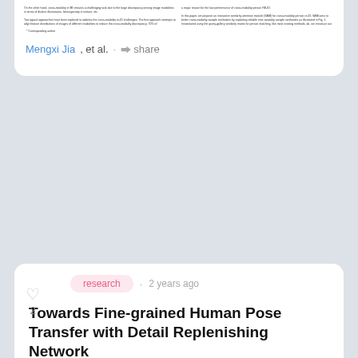[Figure (screenshot): Top portion of a paper card showing a two-column text preview of an academic paper abstract, partially visible at the top of the page.]
Mengxi Jia, et al. · share
research · 2 years ago
Towards Fine-grained Human Pose Transfer with Detail Replenishing Network
Human pose transfer (HPT) is an emerging research topic with huge potent...
[Figure (screenshot): Thumbnail preview of the paper 'Towards Fine-grained Human Pose Transfer with Detail Replenishing Network' showing the paper title and author list in small print.]